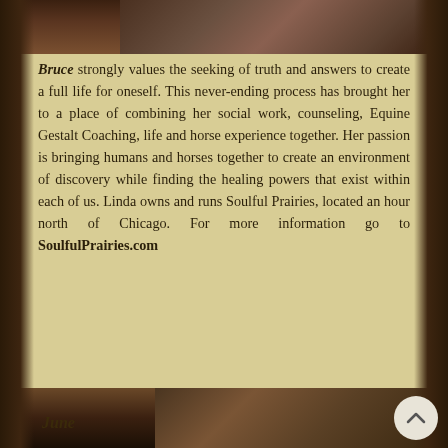[Figure (photo): Top portion of a photograph showing people, partially visible at the top of the page]
Bruce strongly values the seeking of truth and answers to create a full life for oneself. This never-ending process has brought her to a place of combining her social work, counseling, Equine Gestalt Coaching, life and horse experience together. Her passion is bringing humans and horses together to create an environment of discovery while finding the healing powers that exist within each of us. Linda owns and runs Soulful Prairies, located an hour north of Chicago. For more information go to SoulfulPrairies.com
June
[Figure (photo): Bottom portion showing a photograph, partially visible at the bottom of the page]